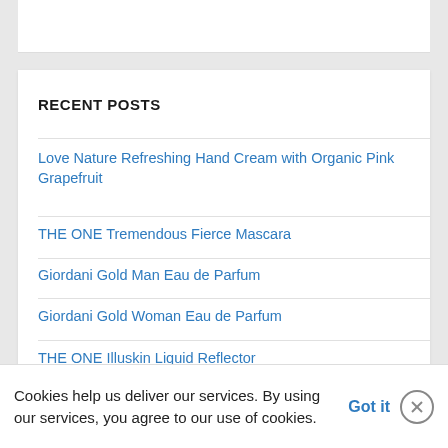RECENT POSTS
Love Nature Refreshing Hand Cream with Organic Pink Grapefruit
THE ONE Tremendous Fierce Mascara
Giordani Gold Man Eau de Parfum
Giordani Gold Woman Eau de Parfum
THE ONE Illuskin Liquid Reflector
Cookies help us deliver our services. By using our services, you agree to our use of cookies. Got it